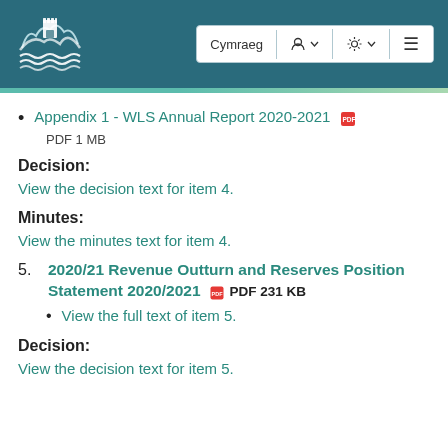[Figure (logo): Welsh council logo with castle and waves, white on teal background]
Appendix 1 - WLS Annual Report 2020-2021  PDF 1 MB
Decision:
View the decision text for item 4.
Minutes:
View the minutes text for item 4.
5.  2020/21 Revenue Outturn and Reserves Position Statement 2020/2021  PDF 231 KB
View the full text of item 5.
Decision:
View the decision text for item 5.